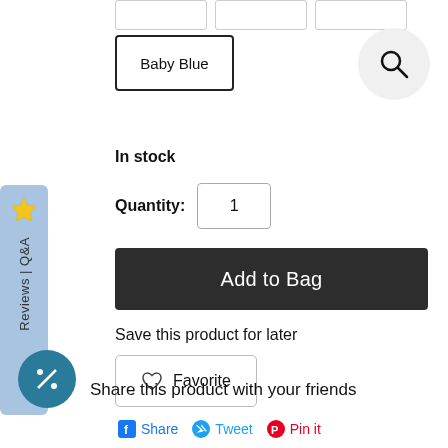[Figure (screenshot): Three empty color swatch boxes at the top]
Baby Blue
[Figure (other): Search icon in a light gray circle]
In stock
Quantity: 1
Add to Bag
Save this product for later
Favorite
[Figure (other): Reviews | Q&A tab on the left side with a star icon]
[Figure (other): Discount percentage badge circle]
Share this product with your friends
Share  Tweet  Pin it